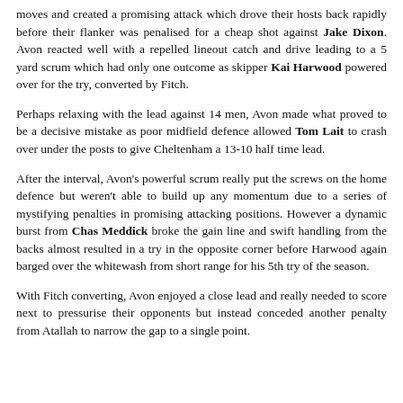moves and created a promising attack which drove their hosts back rapidly before their flanker was penalised for a cheap shot against Jake Dixon. Avon reacted well with a repelled lineout catch and drive leading to a 5 yard scrum which had only one outcome as skipper Kai Harwood powered over for the try, converted by Fitch.
Perhaps relaxing with the lead against 14 men, Avon made what proved to be a decisive mistake as poor midfield defence allowed Tom Lait to crash over under the posts to give Cheltenham a 13-10 half time lead.
After the interval, Avon's powerful scrum really put the screws on the home defence but weren't able to build up any momentum due to a series of mystifying penalties in promising attacking positions. However a dynamic burst from Chas Meddick broke the gain line and swift handling from the backs almost resulted in a try in the opposite corner before Harwood again barged over the whitewash from short range for his 5th try of the season.
With Fitch converting, Avon enjoyed a close lead and really needed to score next to pressurise their opponents but instead conceded another penalty from Atallah to narrow the gap to a single point.